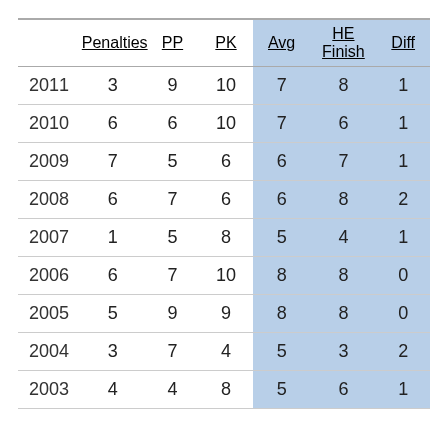|  | Penalties | PP | PK | Avg | HE Finish | Diff |
| --- | --- | --- | --- | --- | --- | --- |
| 2011 | 3 | 9 | 10 | 7 | 8 | 1 |
| 2010 | 6 | 6 | 10 | 7 | 6 | 1 |
| 2009 | 7 | 5 | 6 | 6 | 7 | 1 |
| 2008 | 6 | 7 | 6 | 6 | 8 | 2 |
| 2007 | 1 | 5 | 8 | 5 | 4 | 1 |
| 2006 | 6 | 7 | 10 | 8 | 8 | 0 |
| 2005 | 5 | 9 | 9 | 8 | 8 | 0 |
| 2004 | 3 | 7 | 4 | 5 | 3 | 2 |
| 2003 | 4 | 4 | 8 | 5 | 6 | 1 |